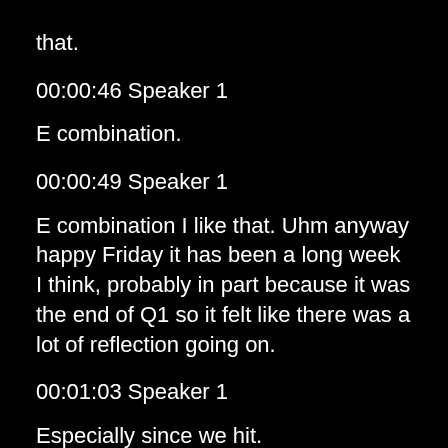that.
00:00:46 Speaker 1
E combination.
00:00:49 Speaker 1
E combination I like that. Uhm anyway happy Friday it has been a long week I think, probably in part because it was the end of Q1 so it felt like there was a lot of reflection going on.
00:01:03 Speaker 1
Especially since we hit.
00:01:07 Speaker 1